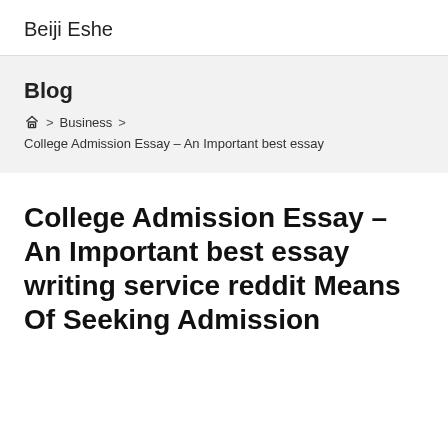Beiji Eshe
Blog
🏠 > Business > College Admission Essay – An Important best essay
College Admission Essay – An Important best essay writing service reddit Means Of Seeking Admission